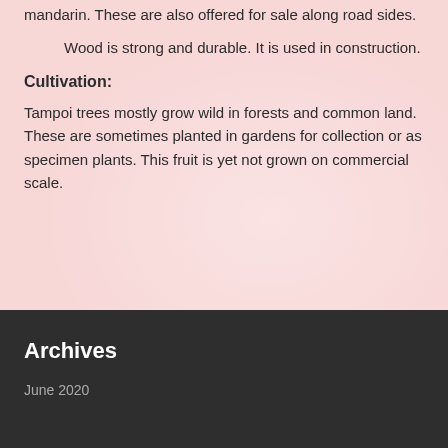mandarin.  These are also offered for sale along road sides.
Wood is strong and durable.  It is used in construction.
Cultivation:
Tampoi trees mostly grow wild in forests and common land.  These are sometimes planted in gardens for collection or as specimen plants.  This fruit is yet not grown on commercial scale.
Archives
↑
June 2020